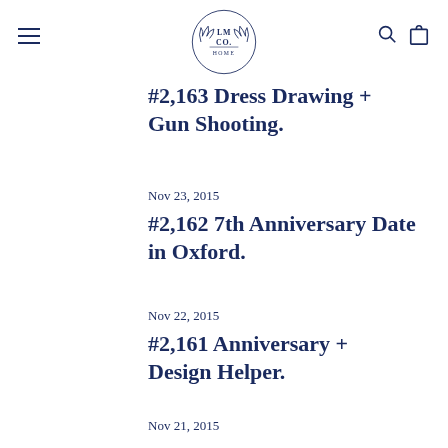[Figure (logo): LM CO HOME circular crest logo with laurel wreath, navy blue]
#2,163 Dress Drawing + Gun Shooting.
Nov 23, 2015
#2,162 7th Anniversary Date in Oxford.
Nov 22, 2015
#2,161 Anniversary + Design Helper.
Nov 21, 2015